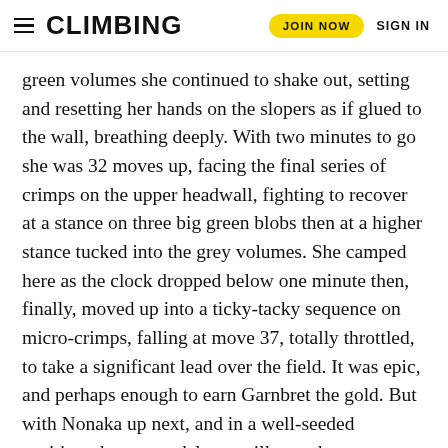CLIMBING | JOIN NOW | SIGN IN
green volumes she continued to shake out, setting and resetting her hands on the slopers as if glued to the wall, breathing deeply. With two minutes to go she was 32 moves up, facing the final series of crimps on the upper headwall, fighting to recover at a stance on three big green blobs then at a higher stance tucked into the grey volumes. She camped here as the clock dropped below one minute then, finally, moved up into a ticky-tacky sequence on micro-crimps, falling at move 37, totally throttled, to take a significant lead over the field. It was epic, and perhaps enough to earn Garnbret the gold. But with Nonaka up next, and in a well-seeded position, the top medal was still an unknown.
ADVERTISEMENT
[Figure (logo): GMC logo advertisement on black background with a side panel showing CLASH DAYTONA TRIATH... text]